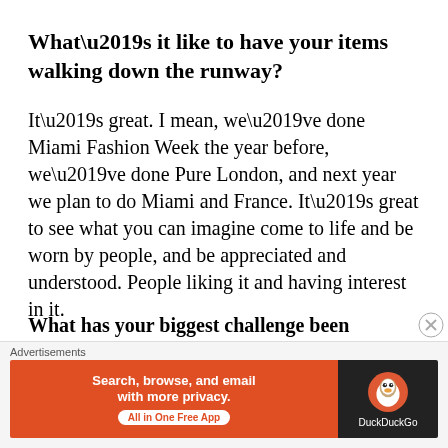What’s it like to have your items walking down the runway?
It’s great. I mean, we’ve done Miami Fashion Week the year before, we’ve done Pure London, and next year we plan to do Miami and France. It’s great to see what you can imagine come to life and be worn by people, and be appreciated and understood. People liking it and having interest in it.
What has your biggest challenge been
Advertisements
[Figure (other): DuckDuckGo advertisement banner: Search, browse, and email with more privacy. All in One Free App. DuckDuckGo logo on dark background.]